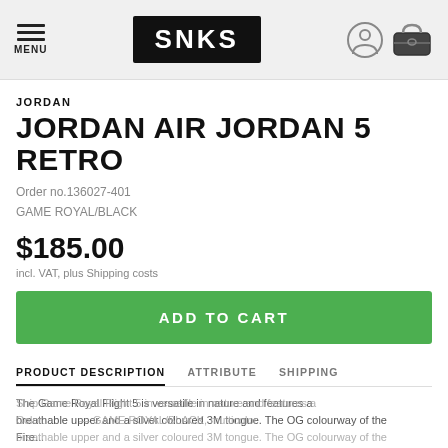SNKS — Menu, user icon, bag icon
JORDAN
JORDAN AIR JORDAN 5 RETRO
Order no.136027-401
GAME ROYAL/BLACK
$185.00
incl. VAT, plus Shipping costs
ADD TO CART
PRODUCT DESCRIPTION   ATTRIBUTE   SHIPPING
The Game Royal Flight 5 is versatile in nature and features a breathable upper and a silver coloured 3M tongue. The OG colourway of the Fire... Color: GAME ROYAL/BLACK, multicolor